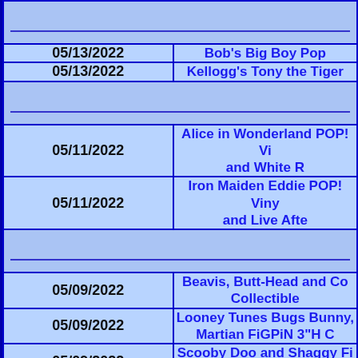| Date | Title |
| --- | --- |
| 05/13/2022 | Bob's Big Boy Pop... |
| 05/13/2022 | Kellogg's Tony the Tiger... |
| (spacer) |  |
| 05/11/2022 | Alice in Wonderland POP! Vi... and White R... |
| 05/11/2022 | Iron Maiden Eddie POP! Viny... and Live Afte... |
| (spacer) |  |
| 05/09/2022 | Beavis, Butt-Head and Co... Collectible... |
| 05/09/2022 | Looney Tunes Bugs Bunny, ... Martian FiGPiN 3"H C... |
| 05/09/2022 | Scooby Doo and Shaggy Fi... Pins |
| (spacer) |  |
| 05/05/2022 | Lucky the Leprechaun/(L... |